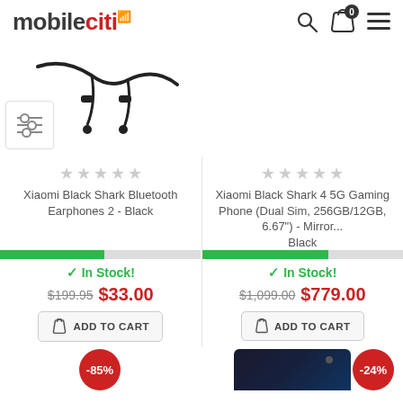[Figure (logo): mobileciti logo with signal icon]
[Figure (photo): Xiaomi Black Shark Bluetooth Earphones 2 - Black, partial product image]
★★★★★ (empty stars rating)
Xiaomi Black Shark Bluetooth Earphones 2 - Black
★★★★★ (empty stars rating)
Xiaomi Black Shark 4 5G Gaming Phone (Dual Sim, 256GB/12GB, 6.67") - Mirror... Black
In Stock!
$199.95 $33.00
ADD TO CART
In Stock!
$1,099.00 $779.00
ADD TO CART
-85%
-24%